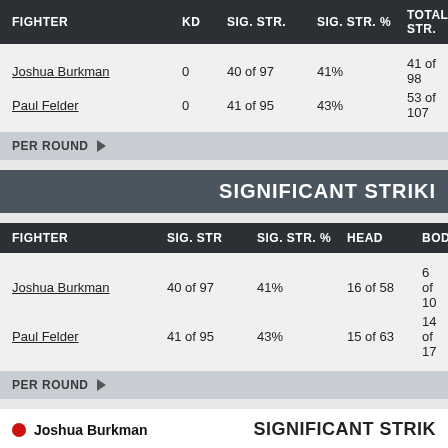| FIGHTER | KD | SIG. STR. | SIG. STR. % | TOTAL STR. |
| --- | --- | --- | --- | --- |
| Joshua Burkman | 0 | 40 of 97 | 41% | 41 of 98 |
| Paul Felder | 0 | 41 of 95 | 43% | 53 of 107 |
PER ROUND
SIGNIFICANT STRIKIN
| FIGHTER | SIG. STR | SIG. STR. % | HEAD | BODY |
| --- | --- | --- | --- | --- |
| Joshua Burkman | 40 of 97 | 41% | 16 of 58 | 6 of 10 |
| Paul Felder | 41 of 95 | 43% | 15 of 63 | 14 of 17 |
PER ROUND
Joshua Burkman
SIGNIFICANT STRIK